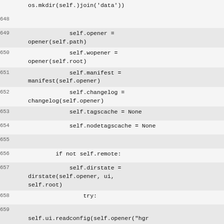Code listing lines 648-666 showing Python class initialization and hook method
648 (blank)
649     self.opener = opener(self.path)
650     self.wopener = opener(self.root)
651     self.manifest = manifest(self.opener)
652     self.changelog = changelog(self.opener)
653     self.tagscache = None
654     self.nodetagscache = None
655 (blank)
656     if not self.remote:
657         self.dirstate = dirstate(self.opener, ui, self.root)
658         try:
659             self.ui.readconfig(self.opener("hgr
660             except IOError: pass
661 (blank)
662     def hook(self, name, **args):
663         s = self.ui.config("hooks", name)
664         if s:
665             self.ui.note("running hook %s: %s\n" % (name, s))
666         old = {}